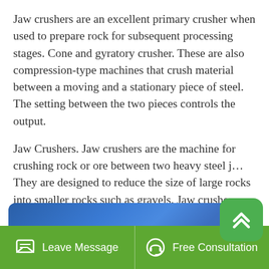Jaw crushers are an excellent primary crusher when used to prepare rock for subsequent processing stages. Cone and gyratory crusher. These are also compression-type machines that crush material between a moving and a stationary piece of steel. The setting between the two pieces controls the output.
Jaw Crushers. Jaw crushers are the machine for crushing rock or ore between two heavy steel j… They are designed to reduce the size of large rocks into smaller rocks such as gravels. Jaw crushers are widely used in the mining and construction industry due to great efficiency in every crushing tasks.
[Figure (screenshot): Green rounded-rectangle scroll-to-top button with upward-pointing chevron icon]
[Figure (screenshot): Blue banner/card partially visible at the bottom of the content area]
Leave Message   Free Consultation